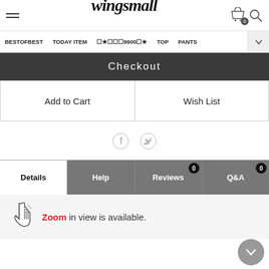wingsmall — header with hamburger menu, logo, cart, search
BESTOFBEST  TODAY ITEM  ☆★☆☆☆9900☆★  TOP  PANTS
Checkout
Add to Cart
Wish List
[Figure (other): Facebook and Twitter social share icons]
Details  Help  Reviews 0  Q&A 0
Zoom in view is available.